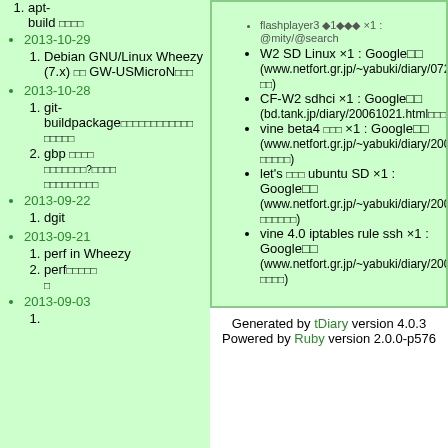1. apt-build □□□□
2013-10-29
1. Debian GNU/Linux Wheezy (7.x) □□ GW-USMicroN □□□
2013-10-28
1. git-buildpackage □□□□□□□□□□□□ □□□□□
2. gbp □□□□ □□□□□□□?□□□□ □□□□□□□□□
2013-09-22
1. dgit
2013-09-21
1. perf in Wheezy
2. perf□□□□□ □
2013-09-03
1.
W2 SD Linux ×1 : Google□□ (www.netfort.gr.jp/~yabuki/diary/0720.html□□□ □□)
CF-W2 sdhci ×1 : Google□□ (bd.tank.jp/diary/20061021.html□□□□□□)
vine beta4 □□□ ×1 : Google□□ (www.netfort.gr.jp/~yabuki/diary/20060414.html □□□□□)
let's □□□ ubuntu SD ×1 : Google□□ (www.netfort.gr.jp/~yabuki/diary/20061019.html □□□□□)
vine 4.0 iptables rule ssh ×1 : Google□□ (www.netfort.gr.jp/~yabuki/diary/200601.html□ □□□□)
Generated by tDiary version 4.0.3
Powered by Ruby version 2.0.0-p576